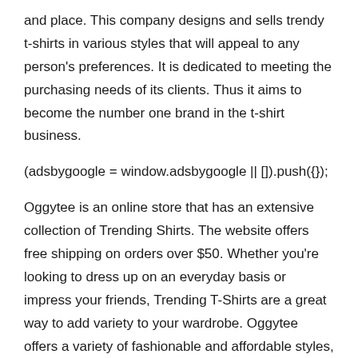and place. This company designs and sells trendy t-shirts in various styles that will appeal to any person's preferences. It is dedicated to meeting the purchasing needs of its clients. Thus it aims to become the number one brand in the t-shirt business.
Oggytee is an online store that has an extensive collection of Trending Shirts. The website offers free shipping on orders over $50. Whether you’re looking to dress up on an everyday basis or impress your friends, Trending T-Shirts are a great way to add variety to your wardrobe. Oggytee offers a variety of fashionable and affordable styles, and all of them will surely complement your style and taste.
Design
Oggytee offers trending shirts for both men and women. They strive to be the number one brand for t-shirts and provide the best quality